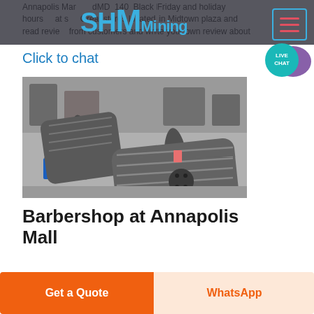Annapolis Mall dMD 140 Black Friday and holiday hours at stores Great stores located in Midtown plaza and read reviews from customers and write your own review about
[Figure (logo): SHM Mining logo in blue text]
[Figure (screenshot): Hamburger menu icon with pink/red lines, blue border]
Click to chat
[Figure (illustration): Live Chat speech bubble icon in teal/purple]
[Figure (photo): Industrial factory floor with large cylindrical steel rolls/shafts wrapped in plastic, supported on blue metal stands, manufacturing facility background]
Barbershop at Annapolis Mall
Get a Quote
WhatsApp